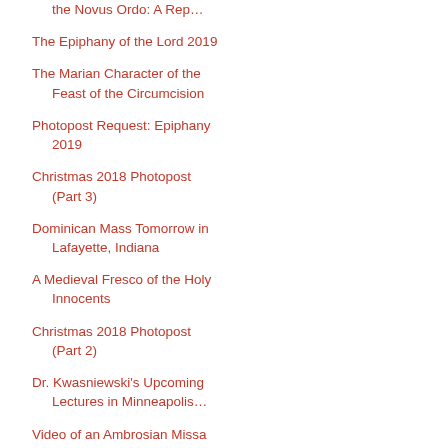Twelve Reasons Not to Prefer the Novus Ordo: A Rep…
The Epiphany of the Lord 2019
The Marian Character of the Feast of the Circumcision
Photopost Request: Epiphany 2019
Christmas 2018 Photopost (Part 3)
Dominican Mass Tomorrow in Lafayette, Indiana
A Medieval Fresco of the Holy Innocents
Christmas 2018 Photopost (Part 2)
Dr. Kwasniewski's Upcoming Lectures in Minneapolis…
Video of an Ambrosian Missa Cantata